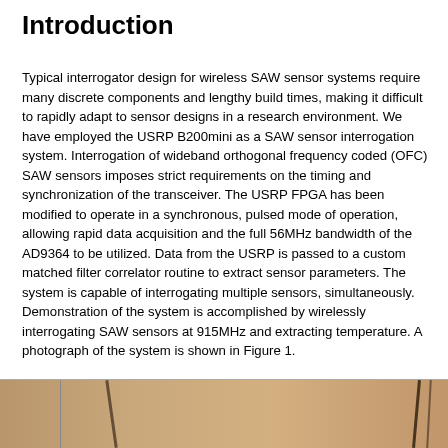Introduction
Typical interrogator design for wireless SAW sensor systems require many discrete components and lengthy build times, making it difficult to rapidly adapt to sensor designs in a research environment. We have employed the USRP B200mini as a SAW sensor interrogation system. Interrogation of wideband orthogonal frequency coded (OFC) SAW sensors imposes strict requirements on the timing and synchronization of the transceiver. The USRP FPGA has been modified to operate in a synchronous, pulsed mode of operation, allowing rapid data acquisition and the full 56MHz bandwidth of the AD9364 to be utilized. Data from the USRP is passed to a custom matched filter correlator routine to extract sensor parameters. The system is capable of interrogating multiple sensors, simultaneously. Demonstration of the system is accomplished by wirelessly interrogating SAW sensors at 915MHz and extracting temperature. A photograph of the system is shown in Figure 1.
[Figure (photo): Partial photograph of the SAW sensor interrogation system, showing bottom portion of the setup.]